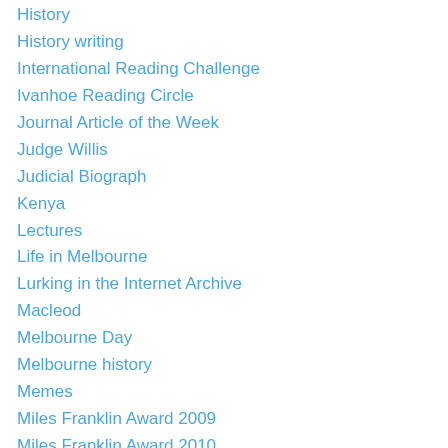History
History writing
International Reading Challenge
Ivanhoe Reading Circle
Journal Article of the Week
Judge Willis
Judicial Biograph
Kenya
Lectures
Life in Melbourne
Lurking in the Internet Archive
Macleod
Melbourne Day
Melbourne history
Memes
Miles Franklin Award 2009
Miles Franklin Award 2010
Miles Franklin Award 2011
Miles Franklin Award 2012
Miles Franklin Award 2013